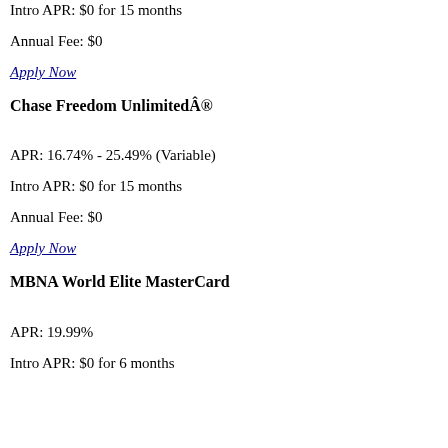Intro APR: $0 for 15 months
Annual Fee: $0
Apply Now
Chase Freedom Unlimited®
APR: 16.74% - 25.49% (Variable)
Intro APR: $0 for 15 months
Annual Fee: $0
Apply Now
MBNA World Elite MasterCard
APR: 19.99%
Intro APR: $0 for 6 months